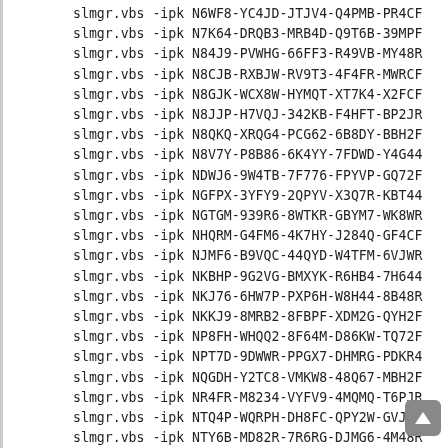slmgr.vbs -ipk N6WF8-YC4JD-JTJV4-Q4PMB-PR4CF
slmgr.vbs -ipk N7K64-DRQB3-MRB4D-Q9T6B-39MPF
slmgr.vbs -ipk N84J9-PVWHG-66FF3-R49VB-MY48R
slmgr.vbs -ipk N8CJB-RXBJW-RV9T3-4F4FR-MWRCF
slmgr.vbs -ipk N8GJK-WCX8W-HYMQT-XT7K4-X2FCF
slmgr.vbs -ipk N8JJP-H7VQJ-342KB-F4HFT-BP2JR
slmgr.vbs -ipk N8QKQ-XRQG4-PCG62-6B8DY-BBH2F
slmgr.vbs -ipk N8V7Y-P8B86-6K4YY-7FDWD-Y4G44
slmgr.vbs -ipk NDWJ6-9W4TB-7F776-FPYVP-GQ72F
slmgr.vbs -ipk NGFPX-3YFY9-2QPYV-X3Q7R-KBT44
slmgr.vbs -ipk NGTGM-939R6-8WTKR-GBYM7-WK8WR
slmgr.vbs -ipk NHQRM-G4FM6-4K7HY-J284Q-GF4CF
slmgr.vbs -ipk NJMF6-B9VQC-44QYD-W4TFM-6VJWR
slmgr.vbs -ipk NKBHP-9G2VG-BMXYK-R6HB4-7H644
slmgr.vbs -ipk NKJ76-6HW7P-PXP6H-W8H44-8B48R
slmgr.vbs -ipk NKKJ9-8MRB2-8FBPF-XDM2G-QYH2F
slmgr.vbs -ipk NP8FH-WHQQ2-8F64M-D86KW-TQ72F
slmgr.vbs -ipk NPT7D-9DWWR-PPGX7-DHMRG-PDKR4
slmgr.vbs -ipk NQGDH-Y2TC8-VMKW8-48Q67-MBH2F
slmgr.vbs -ipk NR4FR-M8234-VYFV9-4MQMQ-T6PJR
slmgr.vbs -ipk NTQ4P-WQRPH-DH8FC-QPY2W-GVJWR
slmgr.vbs -ipk NTY6B-MD82R-7R6RG-DJMG6-4M48R